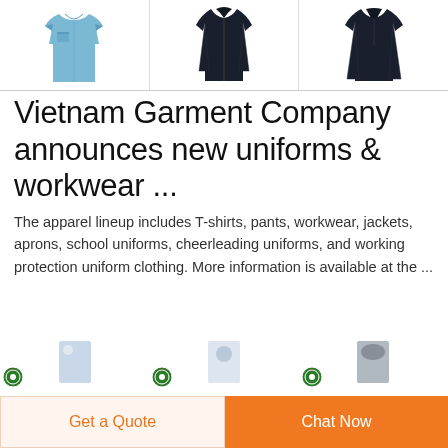[Figure (photo): Three product images: light blue work shirt, dark navy zip-up jacket, dark navy long-sleeve shirt/jacket]
Vietnam Garment Company announces new uniforms & workwear ...
The apparel lineup includes T-shirts, pants, workwear, jackets, aprons, school uniforms, cheerleading uniforms, and working protection uniform clothing. More information is available at the ...
[Figure (photo): Three smaller product thumbnails with circular logo badges]
Get a Quote
Chat Now